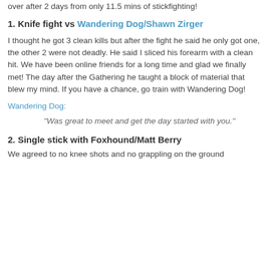over after 2 days from only 11.5 mins of stickfighting!
1. Knife fight vs Wandering Dog/Shawn Zirger
I thought he got 3 clean kills but after the fight he said he only got one, the other 2 were not deadly. He said I sliced his forearm with a clean hit. We have been online friends for a long time and glad we finally met! The day after the Gathering he taught a block of material that blew my mind. If you have a chance, go train with Wandering Dog!
Wandering Dog:
"Was great to meet and get the day started with you."
2. Single stick with Foxhound/Matt Berry
We agreed to no knee shots and no grappling on the ground